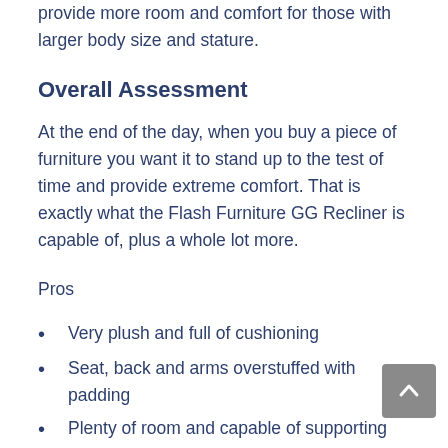provide more room and comfort for those with larger body size and stature.
Overall Assessment
At the end of the day, when you buy a piece of furniture you want it to stand up to the test of time and provide extreme comfort. That is exactly what the Flash Furniture GG Recliner is capable of, plus a whole lot more.
Pros
Very plush and full of cushioning
Seat, back and arms overstuffed with padding
Plenty of room and capable of supporting most people